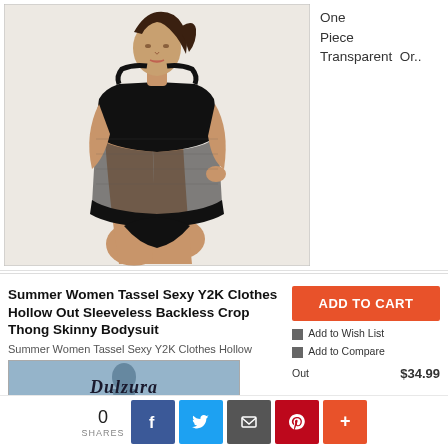[Figure (photo): Fashion model wearing a black sheer mesh one-piece bodysuit/swimsuit, standing against a white background]
One Piece Transparent Or..
Summer Women Tassel Sexy Y2K Clothes Hollow Out Sleeveless Backless Crop Thong Skinny Bodysuit
Summer Women Tassel Sexy Y2K Clothes Hollow
[Figure (photo): Thumbnail image with Dulzura text/logo overlay]
ADD TO CART
Add to Wish List
Add to Compare Out
$34.99
0
SHARES